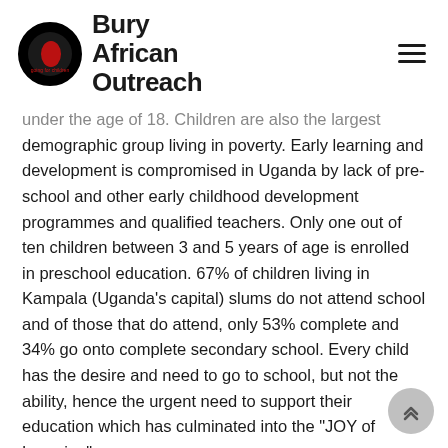Bury African Outreach
under the age of 18. Children are also the largest demographic group living in poverty. Early learning and development is compromised in Uganda by lack of pre-school and other early childhood development programmes and qualified teachers. Only one out of ten children between 3 and 5 years of age is enrolled in preschool education. 67% of children living in Kampala (Uganda's capital) slums do not attend school and of those that do attend, only 53% complete and 34% go onto complete secondary school. Every child has the desire and need to go to school, but not the ability, hence the urgent need to support their education which has culminated into the "JOY of Learning"